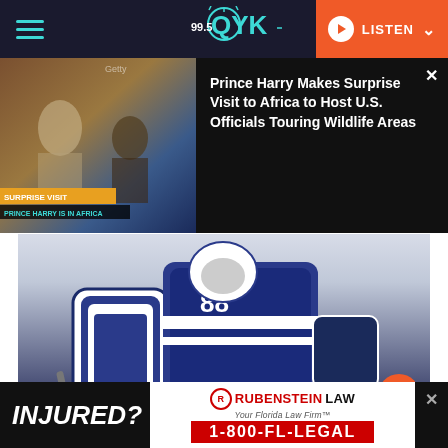99.5 QYK | LISTEN
[Figure (screenshot): News card showing Prince Harry making a surprise visit to Africa. Left side shows a photo of Prince Harry with a child. Right side shows headline text on dark background.]
Prince Harry Makes Surprise Visit to Africa to Host U.S. Officials Touring Wildlife Areas
[Figure (photo): Hockey goalie in Tampa Bay Lightning blue and white uniform, crouched in position. Photo credit: Mike Carlson/Getty Images]
(Photo by Mike Carlson/Getty Images)
Share
Andrei Vasilevskiy #88 of the Tampa Bay
[Figure (screenshot): Advertisement banner: INJURED? Rubenstein Law - Your Florida Law Firm - 1-800-FL-LEGAL]